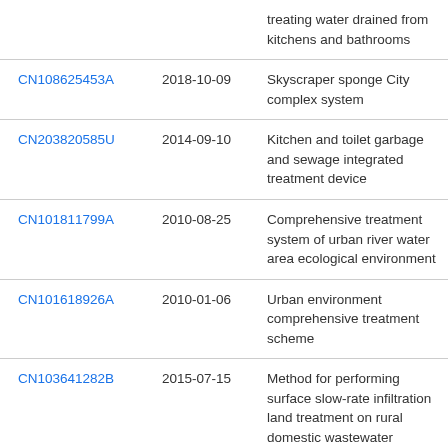| Patent ID | Date | Description |
| --- | --- | --- |
|  |  | treating water drained from kitchens and bathrooms |
| CN108625453A | 2018-10-09 | Skyscraper sponge City complex system |
| CN203820585U | 2014-09-10 | Kitchen and toilet garbage and sewage integrated treatment device |
| CN101811799A | 2010-08-25 | Comprehensive treatment system of urban river water area ecological environment |
| CN101618926A | 2010-01-06 | Urban environment comprehensive treatment scheme |
| CN103641282B | 2015-07-15 | Method for performing surface slow-rate infiltration land treatment on rural domestic wastewater |
| CN209509053U | 2019-10-18 | A kind of building body washing waste water secondary utilization |